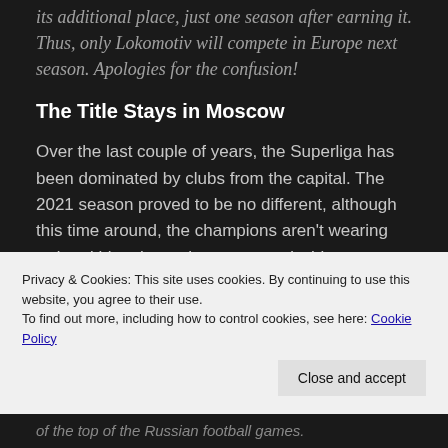its additional place, just one season after earning it. Thus, only Lokomotiv will compete in Europe next season. Apologies for the confusion!
The Title Stays in Moscow
Over the last couple of years, the Superliga has been dominated by clubs from the capital. The 2021 season proved to be no different, although this time around, the champions aren't wearing red and blue, but rather green and white.
Privacy & Cookies: This site uses cookies. By continuing to use this website, you agree to their use.
To find out more, including how to control cookies, see here: Cookie Policy
Close and accept
of the top of the Russian football games.